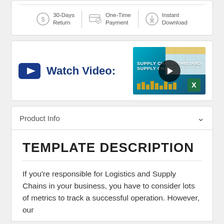[Figure (infographic): Three badges: 30-Days Return, One-Time Payment, Instant Download with icons]
[Figure (screenshot): Watch Video section with YouTube icon and a video thumbnail showing Supply Chain Dashboard spreadsheet]
Product Info
TEMPLATE DESCRIPTION
If you’re responsible for Logistics and Supply Chains in your business, you have to consider lots of metrics to track a successful operation. However, our